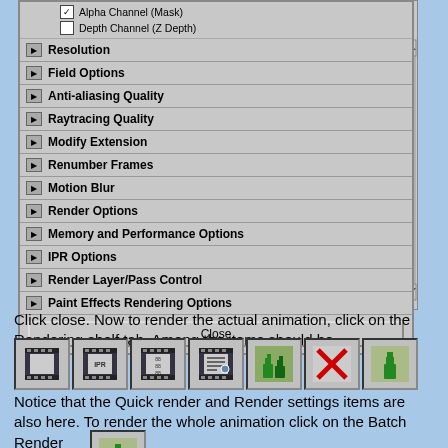[Figure (screenshot): Maya render settings dialog box showing multiple collapsible sections: Resolution, Field Options, Anti-aliasing Quality, Raytracing Quality, Modify Extension, Renumber Frames, Motion Blur, Render Options, Memory and Performance Options, IPR Options, Render Layer/Pass Control, Paint Effects Rendering Options. At bottom a Close button. Top shows checkboxes for Alpha Channel (Mask) and Depth Channel (Z Depth).]
Click close. Now to render the actual animation, click on the Rendering shelf tab. Among the items should be
[Figure (screenshot): Rendering shelf tab icons showing 7 toolbar icons including Quick Render, IPR Render, Render Settings, and Batch Render icons]
Notice that the Quick render and Render settings items are also here. To render the whole animation click on the Batch Render
[Figure (screenshot): Batch Render icon from the shelf]